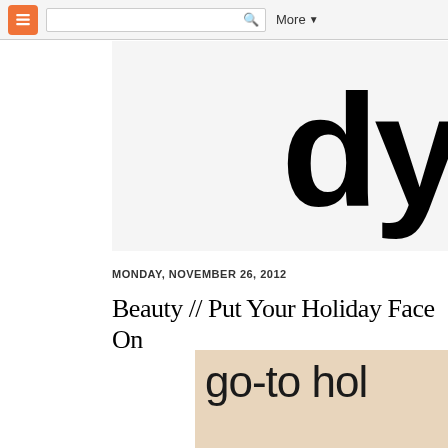Blogger navigation bar with search box and More button
[Figure (screenshot): Blogger header banner showing partial text 'dy' in large black serif-style font on light gray background]
MONDAY, NOVEMBER 26, 2012
Beauty // Put Your Holiday Face On
[Figure (photo): Product image with beige/cream background showing partial text 'go-to hol' in large light-weight sans-serif font]